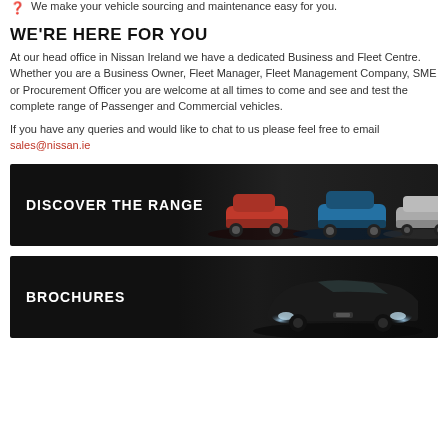We make your vehicle sourcing and maintenance easy for you.
WE'RE HERE FOR YOU
At our head office in Nissan Ireland we have a dedicated Business and Fleet Centre. Whether you are a Business Owner, Fleet Manager, Fleet Management Company, SME or Procurement Officer you are welcome at all times to come and see and test the complete range of Passenger and Commercial vehicles.
If you have any queries and would like to chat to us please feel free to email sales@nissan.ie
[Figure (photo): Dark banner with white bold text 'DISCOVER THE RANGE' on the left and multiple Nissan cars (red, blue, silver) on the right against a dark background.]
[Figure (photo): Dark banner with white bold text 'BROCHURES' on the left and a dark Nissan car with headlights on on the right against a dark background.]